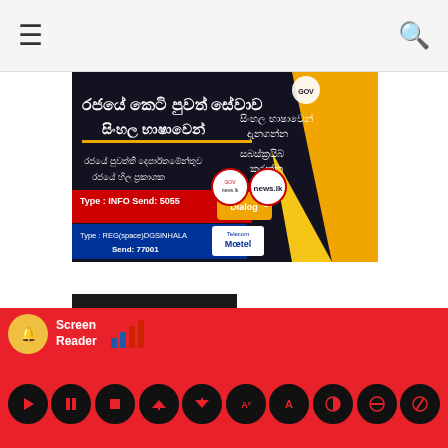Navigation bar with hamburger menu and search icon
[Figure (illustration): Sri Lanka government news.lk banner advertisement in Sinhala language with Dialog and Mobitel SMS service information. Dark background with orange/yellow accents. Text in Sinhala script promoting state news service subscription.]
LATEST NEWS
[Figure (photo): Weather thumbnail image showing WEATHER text]
Showers or thundershowers will occur
[Figure (infographic): Screen Reader accessibility toolbar with red background showing hearing-impaired icon, Screen Reader text, signal bars graphic, and audio control buttons (play, pause, stop, and various display/accessibility options) on red background]